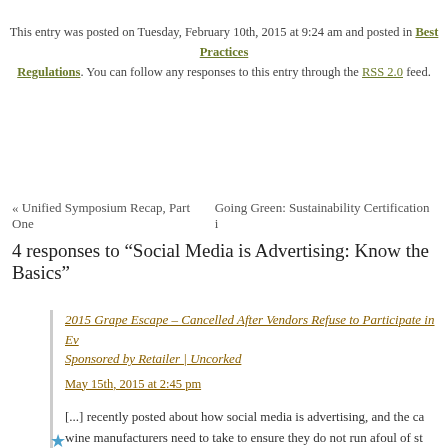This entry was posted on Tuesday, February 10th, 2015 at 9:24 am and posted in Best Practices Regulations. You can follow any responses to this entry through the RSS 2.0 feed.
« Unified Symposium Recap, Part One | Going Green: Sustainability Certification i
4 responses to “Social Media is Advertising: Know the Basics”
2015 Grape Escape – Cancelled After Vendors Refuse to Participate in Ev Sponsored by Retailer | Uncorked
May 15th, 2015 at 2:45 pm
[...] recently posted about how social media is advertising, and the ca wine manufacturers need to take to ensure they do not run afoul of st [...]